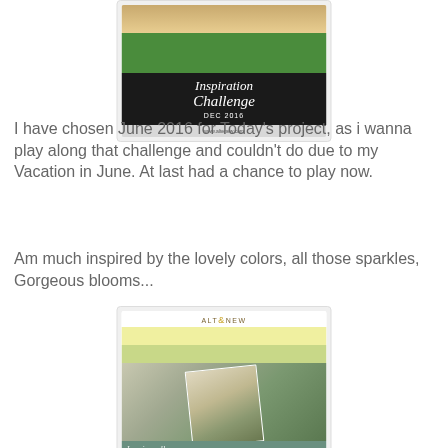[Figure (illustration): Altenew Inspiration Challenge DEC 2016 card image with dark background, gold and green stripes, script title text, and www.altenew.com URL at bottom]
I have chosen June 2016 for Today's project, as i wanna play along that challenge and couldn't do due to my Vacation in June. At last had a chance to play now.
Am much inspired by the lovely colors, all those sparkles, Gorgeous blooms...
[Figure (illustration): Altenew Inspiration Challenge JUNE 2016 card image with yellow and green stripes, photo of bride with bouquet of white flowers, script title text]